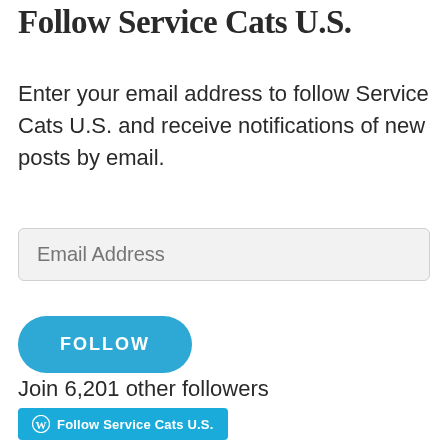Follow Service Cats U.S.
Enter your email address to follow Service Cats U.S. and receive notifications of new posts by email.
Email Address
FOLLOW
Join 6,201 other followers
Follow Service Cats U.S.